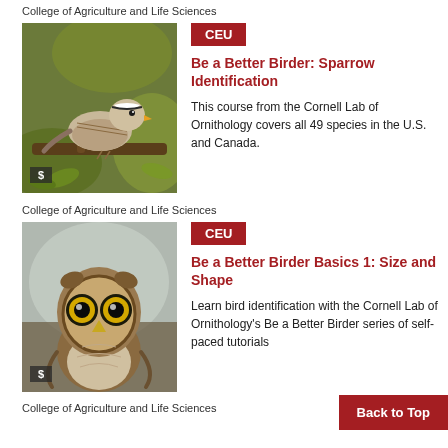College of Agriculture and Life Sciences
[Figure (photo): White-crowned sparrow perched on a branch with green foliage background]
CEU
Be a Better Birder: Sparrow Identification
This course from the Cornell Lab of Ornithology covers all 49 species in the U.S. and Canada.
College of Agriculture and Life Sciences
[Figure (photo): Close-up of a saw-whet owl facing camera with yellow eyes]
CEU
Be a Better Birder Basics 1: Size and Shape
Learn bird identification with the Cornell Lab of Ornithology's Be a Better Birder series of self-paced tutorials
Back to Top
College of Agriculture and Life Sciences